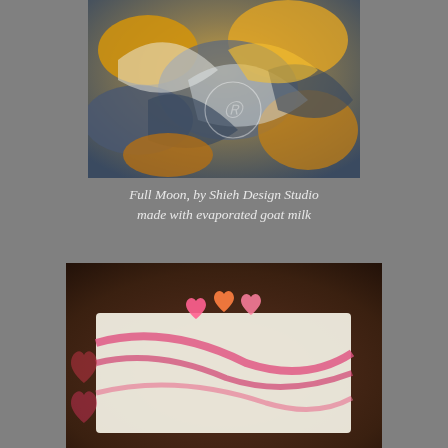[Figure (photo): Close-up macro photo of swirled soap loaf showing blue, white, orange, and gold colors resembling a full moon pattern. A watermark circle with a symbol is visible in the center.]
Full Moon, by Shieh Design Studio made with evaporated goat milk
[Figure (photo): Photo of a slice of soap with pink and white swirls, decorated with small heart-shaped embeds in pink/orange colors, set against a dark background with red heart cutouts.]